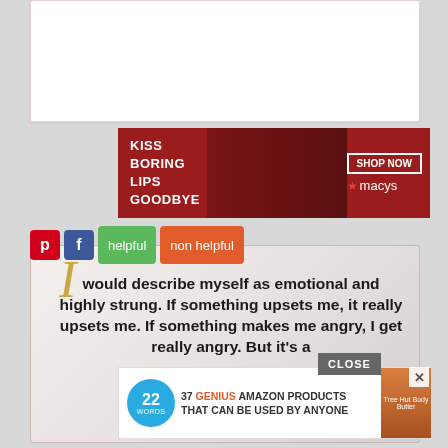[Figure (screenshot): White card placeholder area at top of page]
[Figure (screenshot): Macy's lipstick advertisement banner: 'KISS BORING LIPS GOODBYE' with SHOP NOW button and macys star logo]
[Figure (screenshot): Social sharing buttons: Pinterest, Facebook, helpful (green), non helpful (orange)]
I would describe myself as emotional and highly strung. If something upsets me, it really upsets me. If something makes me angry, I get really angry. But it's a [CLOSE] and I hope I'm fun.
Nicole Kidman
[Figure (screenshot): 22 Words ad: 37 GENIUS AMAZON PRODUCTS THAT CAN BE USED BY ANYONE with product image]